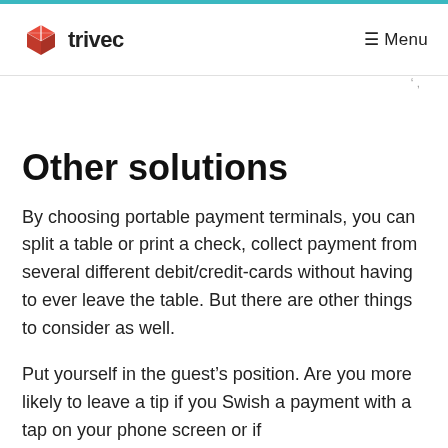trivec  ≡ Menu
Other solutions
By choosing portable payment terminals, you can split a table or print a check, collect payment from several different debit/credit-cards without having to ever leave the table. But there are other things to consider as well.
Put yourself in the guest's position. Are you more likely to leave a tip if you Swish a payment with a tap on your phone screen or if